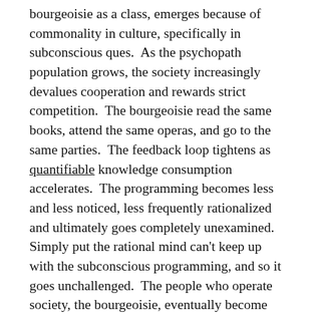bourgeoisie as a class, emerges because of commonality in culture, specifically in subconscious ques.  As the psychopath population grows, the society increasingly devalues cooperation and rewards strict competition.  The bourgeoisie read the same books, attend the same operas, and go to the same parties.  The feedback loop tightens as quantifiable knowledge consumption accelerates.  The programming becomes less and less noticed, less frequently rationalized and ultimately goes completely unexamined.  Simply put the rational mind can't keep up with the subconscious programming, and so it goes unchallenged.  The people who operate society, the bourgeoisie, eventually become completely psychopathic.
Now, in 2017 propaganda is more science than art.  Massive databases of up to the minute word associations betray our subconscious communication and the current state of shared risk.  Further the Internet has greatly increased the bandwidth for subconscious communication.  Sharing (comparatively)